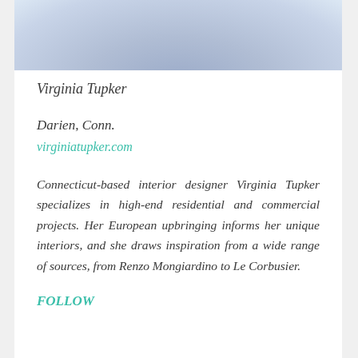[Figure (photo): Interior design photo showing furniture with bluish-grey tones, partially cropped at top of page]
Virginia Tupker
Darien, Conn.
virginiatupker.com
Connecticut-based interior designer Virginia Tupker specializes in high-end residential and commercial projects. Her European upbringing informs her unique interiors, and she draws inspiration from a wide range of sources, from Renzo Mongiardino to Le Corbusier.
FOLLOW